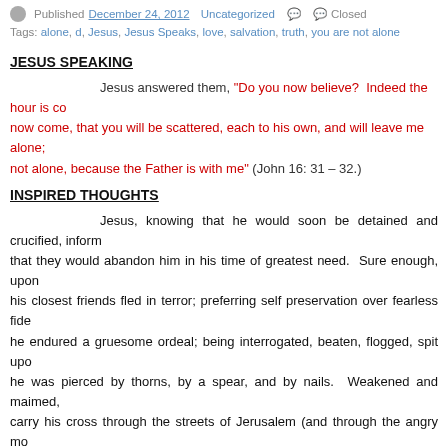Published December 24, 2012 Uncategorized Closed
Tags: alone, d, Jesus, Jesus Speaks, love, salvation, truth, you are not alone
JESUS SPEAKING
Jesus answered them, “Do you now believe?  Indeed the hour is come, that you will be scattered, each to his own, and will leave me alone; yet I am not alone, because the Father is with me” (John 16: 31 – 32.)
INSPIRED THOUGHTS
Jesus, knowing that he would soon be detained and crucified, informed his disciples that they would abandon him in his time of greatest need.  Sure enough, upon his arrest, his closest friends fled in terror; preferring self preservation over fearless fidelity.  Alone, he endured a gruesome ordeal; being interrogated, beaten, flogged, spit upon, and mocked; he was pierced by thorns, by a spear, and by nails.  Weakened and maimed, he was forced to carry his cross through the streets of Jerusalem (and through the angry mob that hurled insults at him.)  Half naked and covered in blood, the Son of God finally reached his destination.  At mount Calvary he was raised up under the hot sun to experience the grueling death by exposure, dehydration, and suffocation.  Jesus Christ endured all of this willingly; but he did not endure it alone; for God was with him.  He was strengthened, consoled, and comforted by our loving Father.  We, like Jesus will struggle through difficult trials.  Life is filled with obstacles and challenges.  Yet those whom God has ch